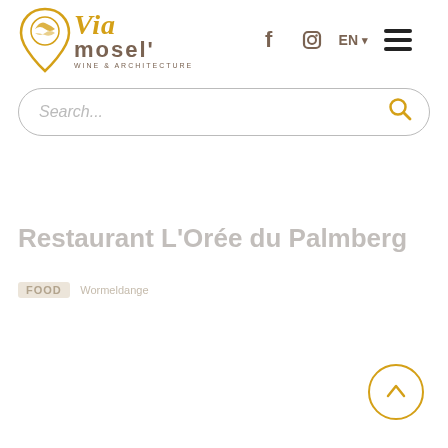[Figure (logo): Via Mosel' Wine & Architecture logo with pin icon and text]
[Figure (screenshot): Search bar with placeholder text 'Search...' and gold search icon]
Restaurant L'Orée du Palmberg
Food  Wormeldange
[Figure (other): Scroll to top circular button with upward arrow in gold]